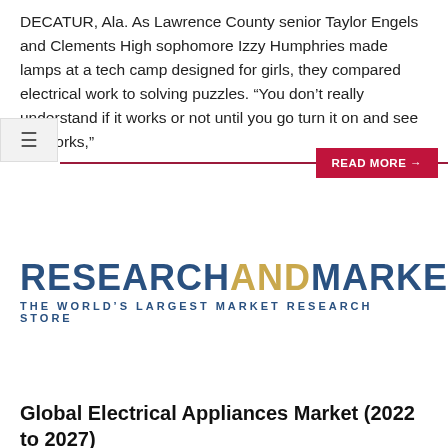DECATUR, Ala. As Lawrence County senior Taylor Engels and Clements High sophomore Izzy Humphries made lamps at a tech camp designed for girls, they compared electrical work to solving puzzles. “You don’t really understand if it works or not until you go turn it on and see if it works,”
[Figure (logo): ResearchAndMarkets logo with tagline THE WORLD'S LARGEST MARKET RESEARCH STORE]
Global Electrical Appliances Market (2022 to 2027)